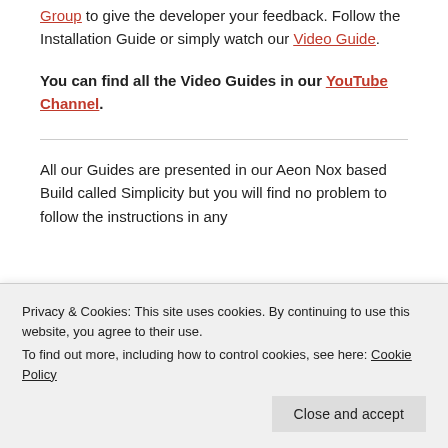Group to give the developer your feedback. Follow the Installation Guide or simply watch our Video Guide.
You can find all the Video Guides in our YouTube Channel.
All our Guides are presented in our Aeon Nox based Build called Simplicity but you will find no problem to follow the instructions in any
Privacy & Cookies: This site uses cookies. By continuing to use this website, you agree to their use.
To find out more, including how to control cookies, see here: Cookie Policy